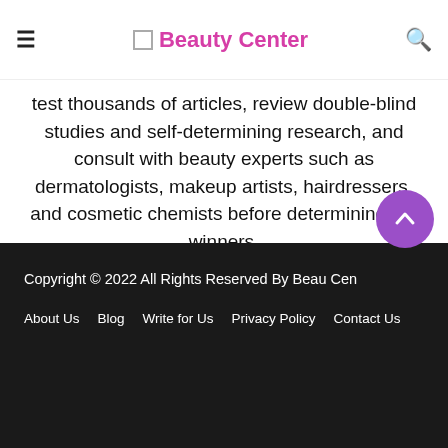Beauty Center
test thousands of articles, review double-blind studies and self-determining research, and consult with beauty experts such as dermatologists, makeup artists, hairdressers, and cosmetic chemists before determining the winners.
Contact us: contact@beaucenter.com
Copyright © 2022 All Rights Reserved By Beau Cen...
About Us
Blog
Write for Us
Privacy Policy
Contact Us